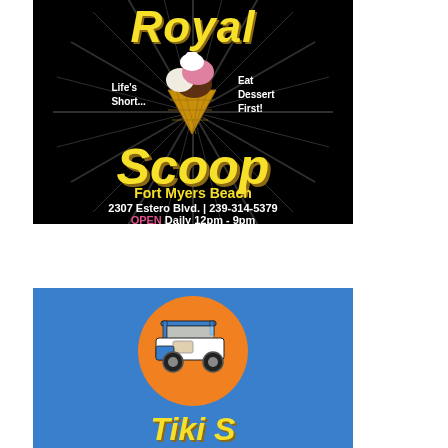[Figure (advertisement): Royal Scoop ice cream advertisement with black background, yellow italic text reading 'Royal' at top, ice cream cone graphic with 'Life's Short...' on left and 'Eat Dessert First!' on right, large yellow 'Scoop' text, 'Fort Myers Beach' subtitle, address '2307 Estero Blvd. | 239-314-5379', and 'OPEN Daily 12pm - 9pm']
[Figure (advertisement): Golf cart rental advertisement with blue background, orange circle containing a blue and black golf cart illustration, partial yellow italic text at bottom (cut off)]